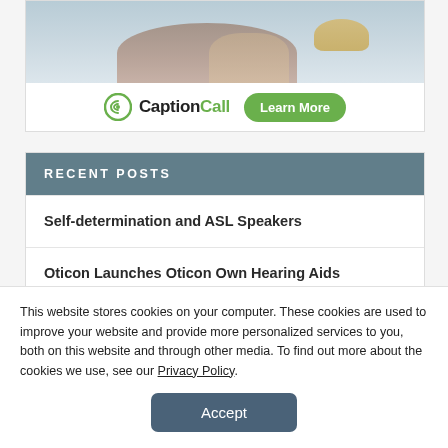[Figure (photo): CaptionCall advertisement banner showing a person with clasped hands and a hat on a table, with CaptionCall logo and a green 'Learn More' button]
RECENT POSTS
Self-determination and ASL Speakers
Oticon Launches Oticon Own Hearing Aids
This website stores cookies on your computer. These cookies are used to improve your website and provide more personalized services to you, both on this website and through other media. To find out more about the cookies we use, see our Privacy Policy.
Accept